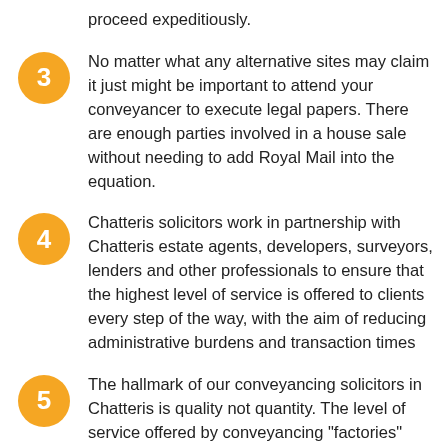proceed expeditiously.
3 No matter what any alternative sites may claim it just might be important to attend your conveyancer to execute legal papers. There are enough parties involved in a house sale without needing to add Royal Mail into the equation.
4 Chatteris solicitors work in partnership with Chatteris estate agents, developers, surveyors, lenders and other professionals to ensure that the highest level of service is offered to clients every step of the way, with the aim of reducing administrative burdens and transaction times
5 The hallmark of our conveyancing solicitors in Chatteris is quality not quantity. The level of service offered by conveyancing "factories" (sometimes 'recommended' by national chain